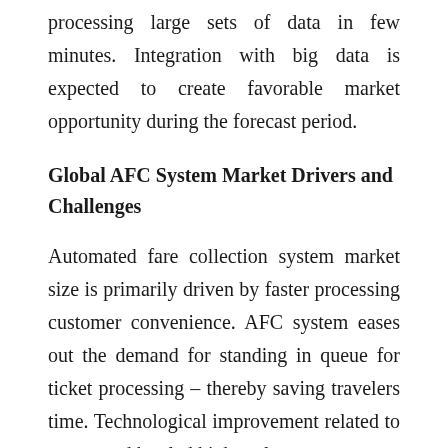processing large sets of data in few minutes. Integration with big data is expected to create favorable market opportunity during the forecast period.
Global AFC System Market Drivers and Challenges
Automated fare collection system market size is primarily driven by faster processing customer convenience. AFC system eases out the demand for standing in queue for ticket processing – thereby saving travelers time. Technological improvement related to smart card has led high scale